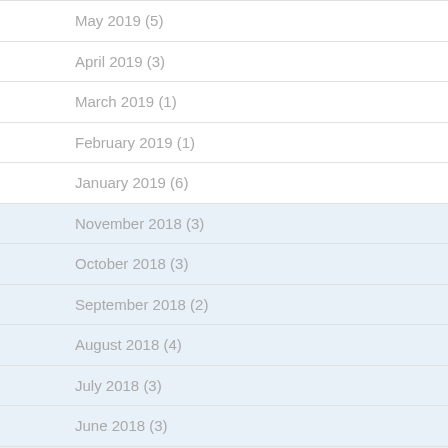May 2019 (5)
April 2019 (3)
March 2019 (1)
February 2019 (1)
January 2019 (6)
November 2018 (3)
October 2018 (3)
September 2018 (2)
August 2018 (4)
July 2018 (3)
June 2018 (3)
May 2018 (4)
April 2018 (2)
February 2018 (1)
January 2018 (4)
December 2017 (1)